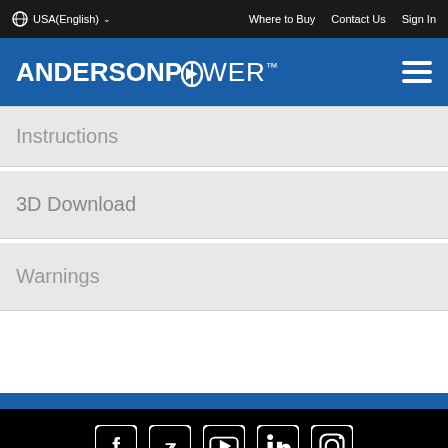USA(English)   Where to Buy   Contact Us   Sign In
[Figure (logo): Anderson Power logo with hamburger menu on blue header bar]
Instructions
3D Download
Warnings
[Figure (infographic): Social media icons row: Facebook, Twitter, YouTube, LinkedIn, Instagram on black footer]
Careers
Environmental Policy